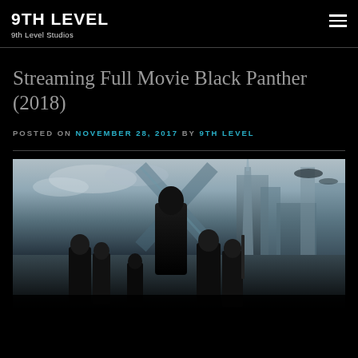9TH LEVEL
9th Level Studios
Streaming Full Movie Black Panther (2018)
POSTED ON NOVEMBER 28, 2017 BY 9TH LEVEL
[Figure (photo): Black Panther (2018) movie poster showing the main characters with a futuristic cityscape background]